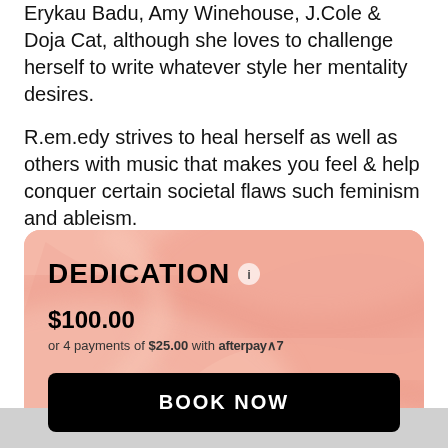Erykau Badu, Amy Winehouse, J.Cole & Doja Cat, although she loves to challenge herself to write whatever style her mentality desires.
R.em.edy strives to heal herself as well as others with music that makes you feel & help conquer certain societal flaws such feminism and ableism.
[Figure (other): A booking card with a pink marble/swirl background. Title: DEDICATION with an info icon. Price: $100.00. Subtext: or 4 payments of $25.00 with Afterpay logo. A black button at the bottom reads BOOK NOW.]